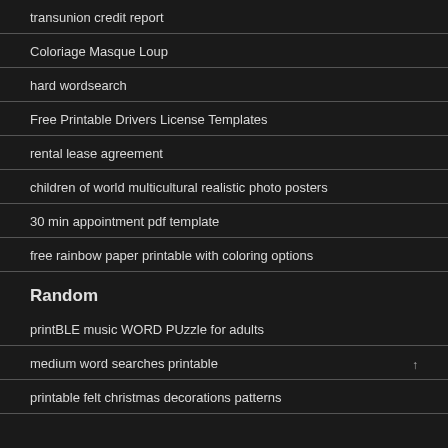transunion credit report
Coloriage Masque Loup
hard wordsearch
Free Printable Drivers License Templates
rental lease agreement
children of world multicultural realistic photo posters
30 min appointment pdf template
free rainbow paper printable with coloring options
Random
printBLE music WORD PUzzle for adults
medium word searches printable
printable felt christmas decorations patterns